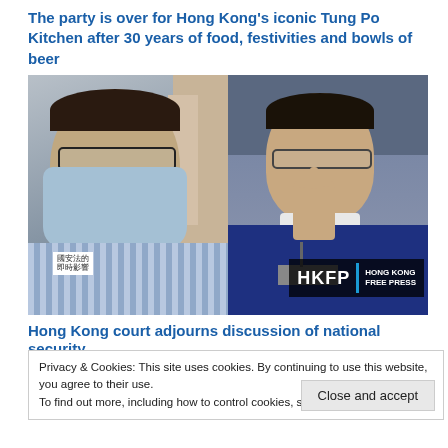The party is over for Hong Kong's iconic Tung Po Kitchen after 30 years of food, festivities and bowls of beer
[Figure (photo): Two-panel photo: left shows a man wearing glasses and a blue surgical mask in a street setting holding a sign with Chinese characters; right shows a man in a blue sweater with glasses raising his hand, with an HKFP Hong Kong Free Press watermark logo.]
Hong Kong court adjourns discussion of national security
Privacy & Cookies: This site uses cookies. By continuing to use this website, you agree to their use.
To find out more, including how to control cookies, see here: Cookie Policy
Close and accept